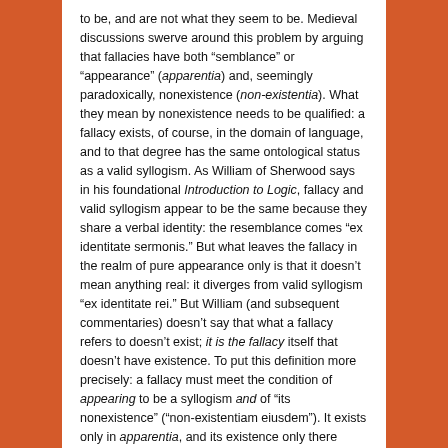to be, and are not what they seem to be. Medieval discussions swerve around this problem by arguing that fallacies have both “semblance” or “appearance” (apparentia) and, seemingly paradoxically, nonexistence (non-existentia). What they mean by nonexistence needs to be qualified: a fallacy exists, of course, in the domain of language, and to that degree has the same ontological status as a valid syllogism. As William of Sherwood says in his foundational Introduction to Logic, fallacy and valid syllogism appear to be the same because they share a verbal identity: the resemblance comes “ex identitate sermonis.” But what leaves the fallacy in the realm of pure appearance only is that it doesn’t mean anything real: it diverges from valid syllogism “ex identitate rei.” But William (and subsequent commentaries) doesn’t say that what a fallacy refers to doesn’t exist; it is the fallacy itself that doesn’t have existence. To put this definition more precisely: a fallacy must meet the condition of appearing to be a syllogism and of “its nonexistence” (“non-existentiam eiusdem”). It exists only in apparentia, and its existence only there means that it does not actually exist.